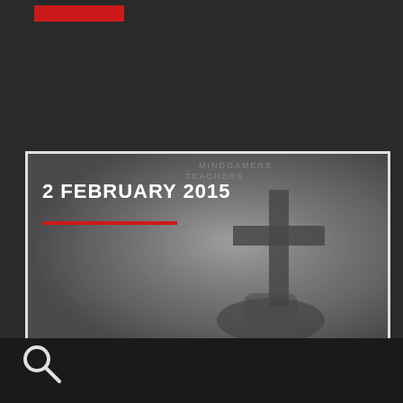[Figure (illustration): Red horizontal bar at top left, decorative element on dark background]
[Figure (photo): Thumbnail image with dark misty/foggy atmosphere featuring a cross silhouette. Text overlay reads '2 FEBRUARY 2015' in bold white, with 'MINDGAMERS' and 'TEACHERS' in grey above. A red underline appears below the date. White border around the image. Appears to be a website screenshot or media article thumbnail.]
[Figure (illustration): Search icon (magnifying glass) in white on dark bottom bar]